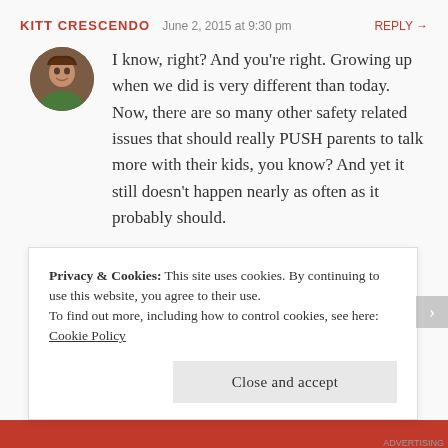KITT CRESCENDO   June 2, 2015 at 9:30 pm   REPLY →
I know, right? And you're right. Growing up when we did is very different than today. Now, there are so many other safety related issues that should really PUSH parents to talk more with their kids, you know? And yet it still doesn't happen nearly as often as it probably should.
★ Like
Privacy & Cookies: This site uses cookies. By continuing to use this website, you agree to their use.
To find out more, including how to control cookies, see here: Cookie Policy
Close and accept